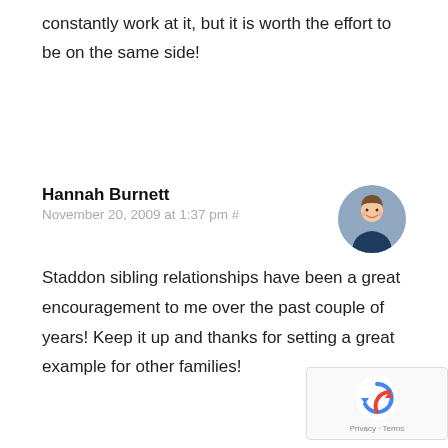constantly work at it, but it is worth the effort to be on the same side!
Hannah Burnett
November 20, 2009 at 1:37 pm #
[Figure (photo): Circular avatar photo of Hannah Burnett, a woman smiling outdoors]
Staddon sibling relationships have been a great encouragement to me over the past couple of years! Keep it up and thanks for setting a great example for other families!
[Figure (logo): reCAPTCHA badge with Privacy and Terms links]